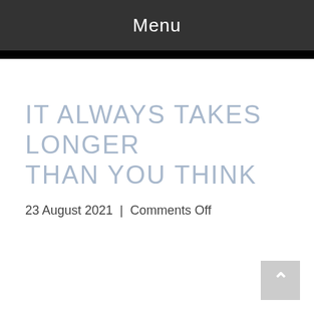Menu
It always takes longer than you think
23 August 2021  |  Comments Off